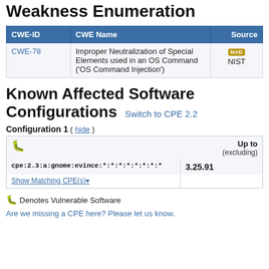Weakness Enumeration
| CWE-ID | CWE Name | Source |
| --- | --- | --- |
| CWE-78 | Improper Neutralization of Special Elements used in an OS Command ('OS Command Injection') | NIST |
Known Affected Software Configurations Switch to CPE 2.2
Configuration 1 ( hide )
|  | Up to (excluding) |
| --- | --- |
| [icon] cpe:2.3:a:gnome:evince:*:*:*:*:*:*:*:* | 3.25.91 |
| Show Matching CPE(s)▾ |  |
[icon] Denotes Vulnerable Software
Are we missing a CPE here? Please let us know.